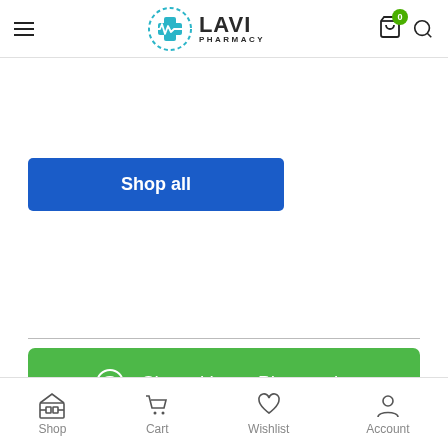Lavi Pharmacy — navigation header with logo, cart (0), and search
[Figure (screenshot): Lavi Pharmacy logo: teal cross with heartbeat line inside circle, LAVI PHARMACY wordmark]
Shop all
[Figure (screenshot): Green WhatsApp-style button: Chat with our Pharmacist]
Shop  Cart  Wishlist  Account